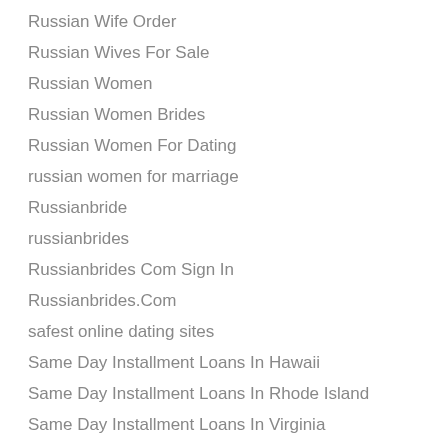Russian Wife Order
Russian Wives For Sale
Russian Women
Russian Women Brides
Russian Women For Dating
russian women for marriage
Russianbride
russianbrides
Russianbrides Com Sign In
Russianbrides.Com
safest online dating sites
Same Day Installment Loans In Hawaii
Same Day Installment Loans In Rhode Island
Same Day Installment Loans In Virginia
Same Day Installment Loans In Wyoming
same day payday loan
Same Day Title Loans In Wyoming
San Antonio Payday Loans